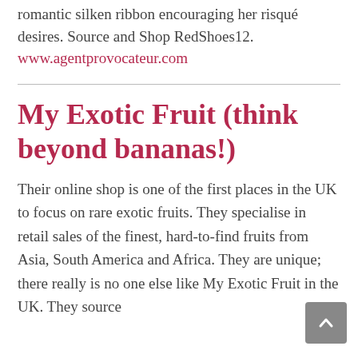romantic silken ribbon encouraging her risqué desires. Source and Shop RedShoes12. www.agentprovocateur.com
My Exotic Fruit (think beyond bananas!)
Their online shop is one of the first places in the UK to focus on rare exotic fruits. They specialise in retail sales of the finest, hard-to-find fruits from Asia, South America and Africa. They are unique; there really is no one else like My Exotic Fruit in the UK. They source